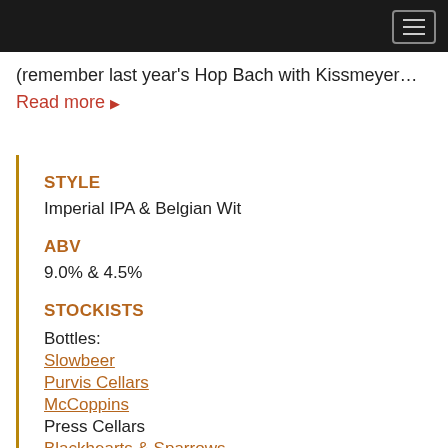(remember last year's Hop Bach with Kissmeyer… Read more ▶
STYLE
Imperial IPA & Belgian Wit
ABV
9.0% & 4.5%
STOCKISTS
Bottles:
Slowbeer
Purvis Cellars
McCoppins
Press Cellars
Blackhearts & Sparrows
Swords Select
Olinda Cell